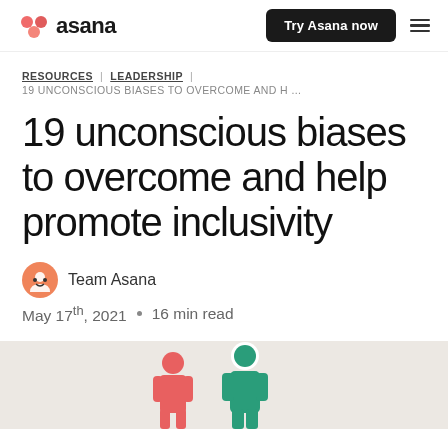asana | Try Asana now
RESOURCES | LEADERSHIP | 19 UNCONSCIOUS BIASES TO OVERCOME AND H ...
19 unconscious biases to overcome and help promote inclusivity
Team Asana
May 17th, 2021 • 16 min read
[Figure (illustration): Hero image showing illustrated figures on a light beige background]